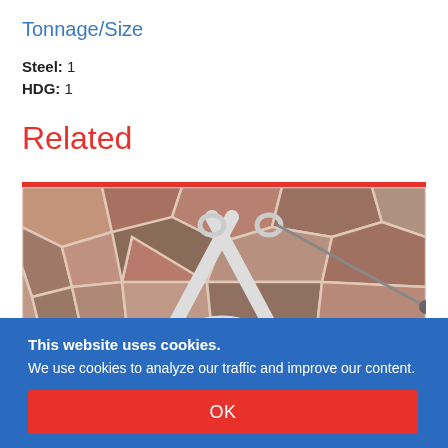Tonnage/Size
Steel: 1
HDG: 1
Related
[Figure (photo): Photo of a metal wire/strap product (appears to be a buckle or fastener with crossed white straps/wires) on a stone tile background. Red border on top of image.]
This website uses cookies. We use cookies to analyze our traffic and improve our content.
OK